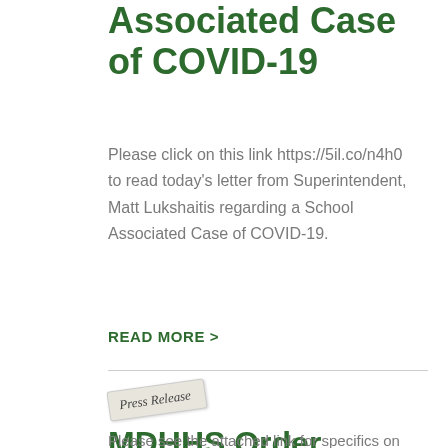Associated Case of COVID-19
Please click on this link https://5il.co/n4h0 to read today's letter from Superintendent, Matt Lukshaitis regarding a School Associated Case of COVID-19.
READ MORE >
[Figure (illustration): Press Release stamp image with italic text 'Press Release' on a slightly angled paper/stamp graphic]
MDHHS Order
Please see the attached link for specifics on how Pine River is handling the new